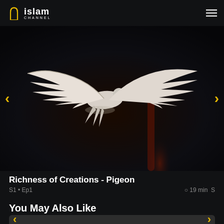Islam Channel
[Figure (photo): A white dove or pigeon with wings spread wide, flying against a dark background with a reddish light streak below it. Navigation arrows (< >) on either side.]
Richness of Creations - Pigeon
S1 · Ep1   © 19 min  S
You May Also Like
[Figure (screenshot): Bottom portion of a video carousel card with dark grey background and yellow navigation arrows on each side.]